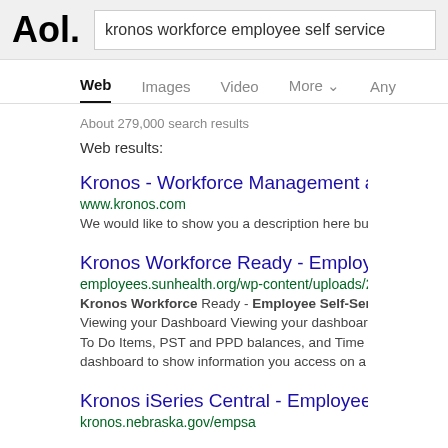[Figure (screenshot): AOL search results page for 'kronos workforce employee self service']
Aol.
kronos workforce employee self service
Web  Images  Video  More  Any
About 279,000 search results
Web results:
Kronos - Workforce Management and H
www.kronos.com
We would like to show you a description here but the s
Kronos Workforce Ready - Employee S
employees.sunhealth.org/wp-content/uploads/2020
Kronos Workforce Ready - Employee Self-Service ( Viewing your Dashboard Viewing your dashboard will a To Do Items, PST and PPD balances, and Time Off Re dashboard to show information you access on a regula
Kronos iSeries Central - Employee Self
kronos.nebraska.gov/empsa